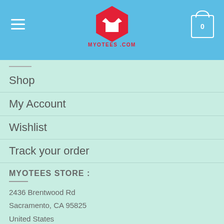[Figure (logo): MyOtees.com logo: red hexagon with white t-shirt icon and MYOTEES.COM text in red below]
Shop
My Account
Wishlist
Track your order
MYOTEES STORE :
2436 Brentwood Rd
Sacramento, CA 95825
United States
Hours: